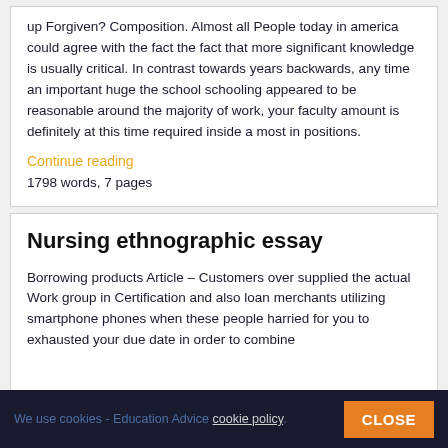up Forgiven? Composition. Almost all People today in america could agree with the fact the fact that more significant knowledge is usually critical. In contrast towards years backwards, any time an important huge the school schooling appeared to be reasonable around the majority of work, your faculty amount is definitely at this time required inside a most in positions.
Continue reading
1798 words, 7 pages
Nursing ethnographic essay
Borrowing products Article – Customers over supplied the actual Work group in Certification and also loan merchants utilizing smartphone phones when these people harried for you to exhausted your due date in order to combine
We use cookies - Education Advice cookie policy